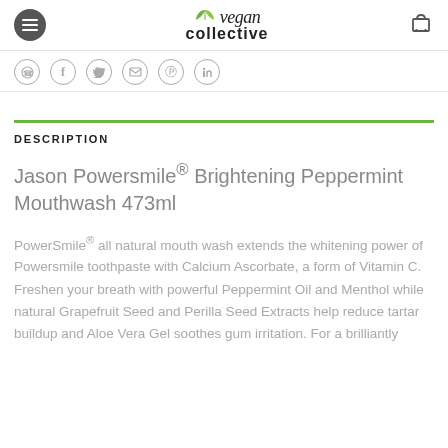vegan collective
Social share icons: WhatsApp, Facebook, Twitter, Email, Pinterest, LinkedIn
DESCRIPTION
Jason Powersmile® Brightening Peppermint Mouthwash 473ml
PowerSmile® all natural mouth wash extends the whitening power of Powersmile toothpaste with Calcium Ascorbate, a form of Vitamin C. Freshen your breath with powerful Peppermint Oil and Menthol while natural Grapefruit Seed and Perilla Seed Extracts help reduce tartar buildup and Aloe Vera Gel soothes gum irritation. For a brilliantly